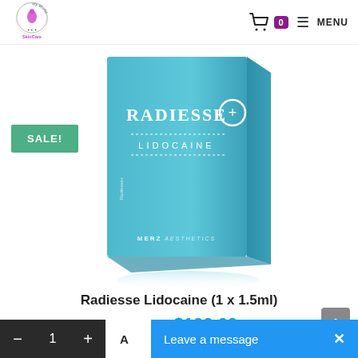Bella Beauty World SkinCare — 0 — MENU
[Figure (photo): Radiesse+ Lidocaine product box in teal/blue color with Merz Aesthetics branding, showing a 3D angled perspective of the package]
SALE!
Radiesse Lidocaine (1 x 1.5ml)
$136.00  $100.00
- 1 + Add to cart | Leave a message ×